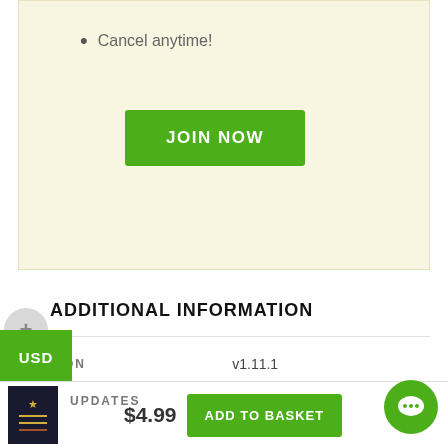Cancel anytime!
JOIN NOW
USD
ADDITIONAL INFORMATION
|  |  |
| --- | --- |
| VERSION | v1.11.1 |
| AUTHOR | Codecanyon |
| LICENSE | GPL 2.0 |
| UPDATES |  |
$4.99
ADD TO BASKET